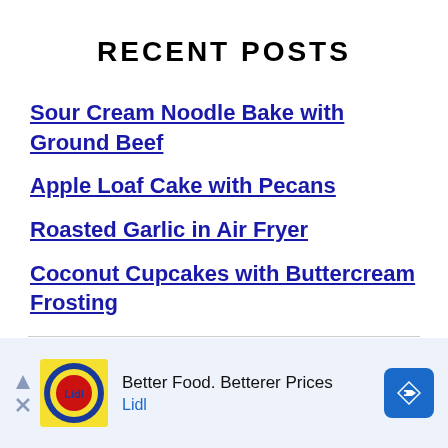RECENT POSTS
Sour Cream Noodle Bake with Ground Beef
Apple Loaf Cake with Pecans
Roasted Garlic in Air Fryer
Coconut Cupcakes with Buttercream Frosting
[Figure (other): Advertisement banner: Lidl - Better Food. Betterer Prices]